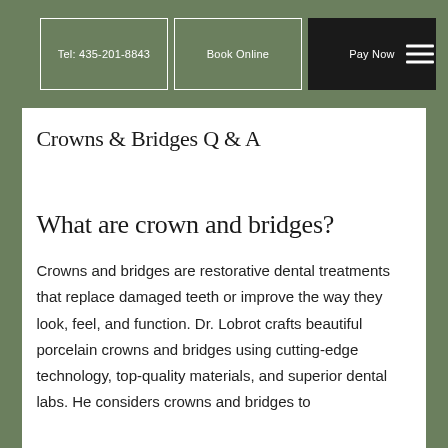Tel: 435-201-8843 | Book Online | Pay Now
Crowns & Bridges Q & A
What are crown and bridges?
Crowns and bridges are restorative dental treatments that replace damaged teeth or improve the way they look, feel, and function. Dr. Lobrot crafts beautiful porcelain crowns and bridges using cutting-edge technology, top-quality materials, and superior dental labs. He considers crowns and bridges to